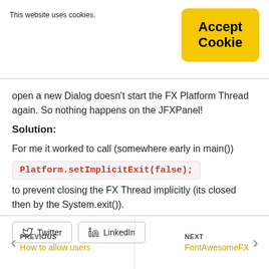This website uses cookies.
Accept Cookie
open a new Dialog doesn't start the FX Platform Thread again. So nothing happens on the JFXPanel!
Solution:
For me it worked to call (somewhere early in main())
to prevent closing the FX Thread implicitly (its closed then by the System.exit()).
Twitter   LinkedIn
PREVIOUS How to allow users   NEXT FontAwesomeFX